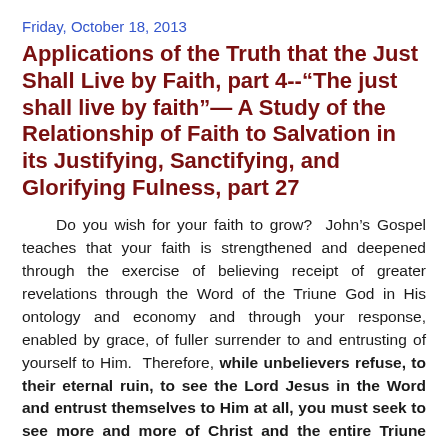Friday, October 18, 2013
Applications of the Truth that the Just Shall Live by Faith, part 4--“The just shall live by faith”— A Study of the Relationship of Faith to Salvation in its Justifying, Sanctifying, and Glorifying Fulness, part 27
Do you wish for your faith to grow?  John’s Gospel teaches that your faith is strengthened and deepened through the exercise of believing receipt of greater revelations through the Word of the Triune God in His ontology and economy and through your response, enabled by grace, of fuller surrender to and entrusting of yourself to Him.  Therefore, while unbelievers refuse, to their eternal ruin, to see the Lord Jesus in the Word and entrust themselves to Him at all, you must seek to see more and more of Christ and the entire Triune Godhead in the Word